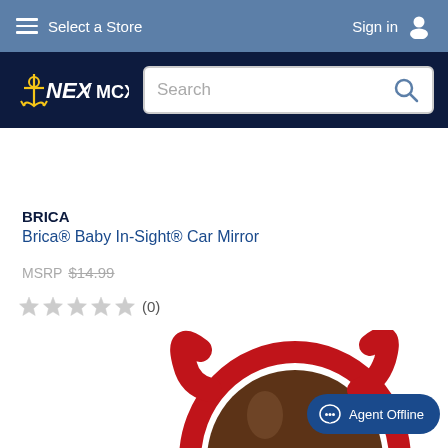Select a Store   Sign in
[Figure (logo): NEX / MCX logo on dark navy background with search bar]
BRICA
Brica® Baby In-Sight® Car Mirror
MSRP $14.99
★★★★★ (0)
Add To Compare
[Figure (photo): Brica Baby In-Sight Car Mirror product photo, partially visible, red and brown circular mirror with handle]